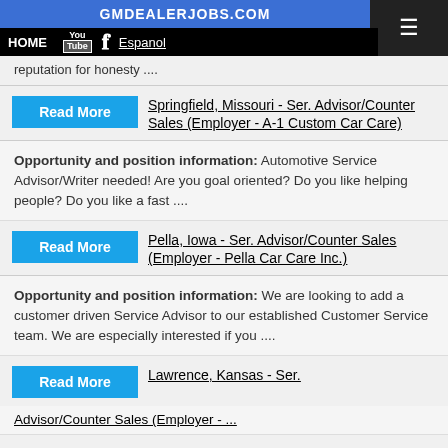GMDEALERJOBS.COM | HOME | YouTube | Facebook | Espanol
reputation for honesty ....
Read More — Springfield, Missouri - Ser. Advisor/Counter Sales (Employer - A-1 Custom Car Care)
Opportunity and position information: Automotive Service Advisor/Writer needed! Are you goal oriented? Do you like helping people? Do you like a fast ....
Read More — Pella, Iowa - Ser. Advisor/Counter Sales (Employer - Pella Car Care Inc.)
Opportunity and position information: We are looking to add a customer driven Service Advisor to our established Customer Service team. We are especially interested if you ....
Read More — Lawrence, Kansas - Ser. Advisor/Counter Sales (Employer - ...)